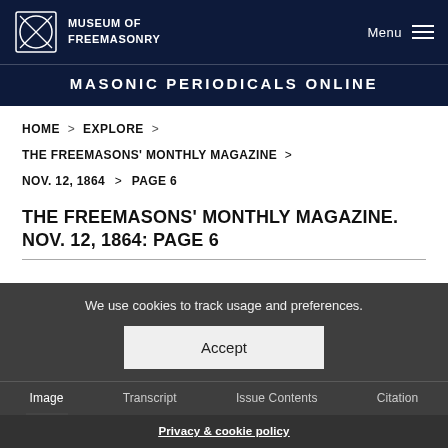MUSEUM OF FREEMASONRY
MASONIC PERIODICALS ONLINE
HOME > EXPLORE >
THE FREEMASONS' MONTHLY MAGAZINE >
NOV. 12, 1864 > PAGE 6
THE FREEMASONS' MONTHLY MAGAZINE. NOV. 12, 1864: PAGE 6
We use cookies to track usage and preferences.
Accept
Image  Transcript  Issue Contents  Citation
Privacy & cookie policy